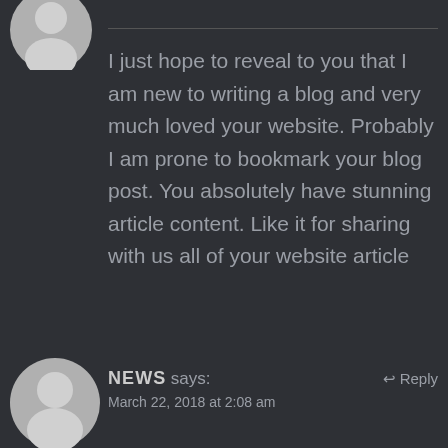[Figure (illustration): Gray avatar silhouette of a person, partially visible at top left]
I just hope to reveal to you that I am new to writing a blog and very much loved your website. Probably I am prone to bookmark your blog post. You absolutely have stunning article content. Like it for sharing with us all of your website article
[Figure (illustration): Gray avatar silhouette of a person at bottom left]
NEWS says:
↩ Reply
March 22, 2018 at 2:08 am